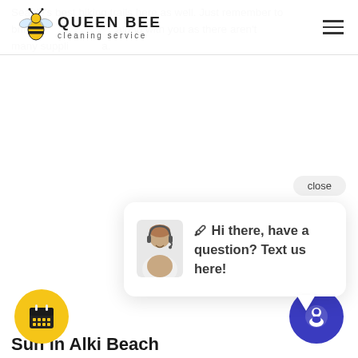[Figure (logo): Queen Bee Cleaning Service logo with bee icon]
Seattle's best hiking trails here as well. Just remember to bring water along with you as there aren't many supplies.
close
[Figure (screenshot): Chat widget with agent avatar and message: Hi there, have a question? Text us here!]
🖊 Hi there, have a question? Text us here!
[Figure (infographic): Yellow circular calendar icon button]
[Figure (infographic): Blue circular chat/speech bubble icon button]
Sun in Alki Beach